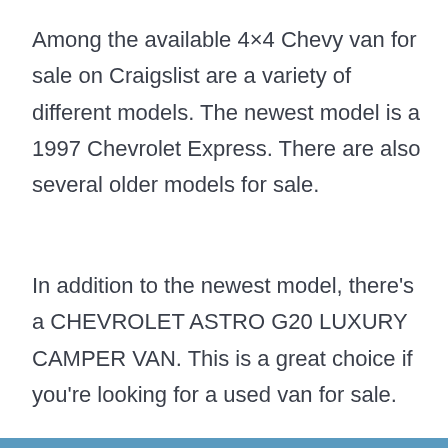Among the available 4×4 Chevy van for sale on Craigslist are a variety of different models. The newest model is a 1997 Chevrolet Express. There are also several older models for sale.
In addition to the newest model, there's a CHEVROLET ASTRO G20 LUXURY CAMPER VAN. This is a great choice if you're looking for a used van for sale.